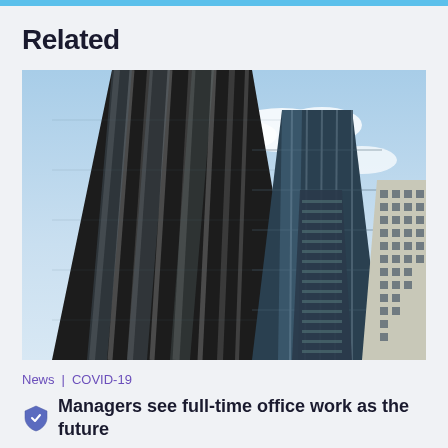Related
[Figure (photo): Upward-angle view of tall glass skyscrapers against a partly cloudy blue sky, showing reflective curtain-wall facades]
News | COVID-19
Managers see full-time office work as the future